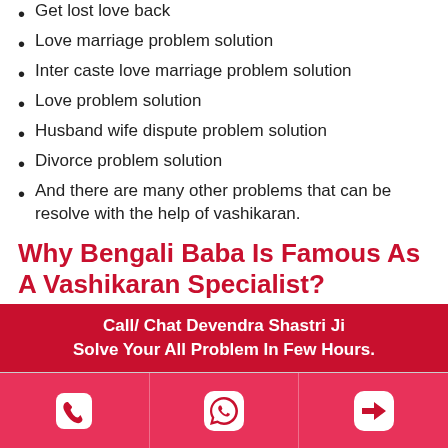Get lost love back
Love marriage problem solution
Inter caste love marriage problem solution
Love problem solution
Husband wife dispute problem solution
Divorce problem solution
And there are many other problems that can be resolve with the help of vashikaran.
Why Bengali Baba Is Famous As A Vashikaran Specialist?
Real vashikaran specialist aghori tantrik baba ji in centralarea is able to solve all the problems. With the help of vashikaran. He has vast knowledge in the field of astrology. Bengali Baba ji has also knowledge of the Vedic
Call/ Chat Devendra Shastri Ji
Solve Your All Problem In Few Hours.